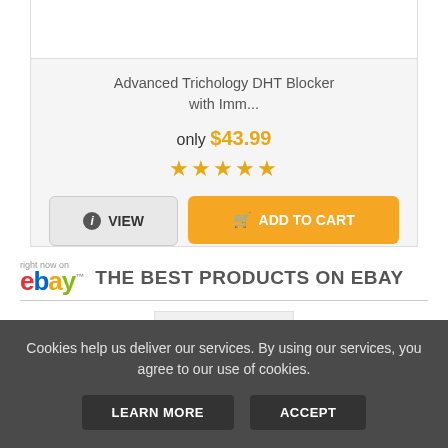Advanced Trichology DHT Blocker with Imm...
only $43.99
[Figure (other): Five gold star rating]
VIEW
ADD TO CART
right now on eBay™ THE BEST PRODUCTS ON EBAY
[Figure (photo): Product image on eBay card showing a small yellow item on white background]
Cookies help us deliver our services. By using our services, you agree to our use of cookies.
LEARN MORE
ACCEPT